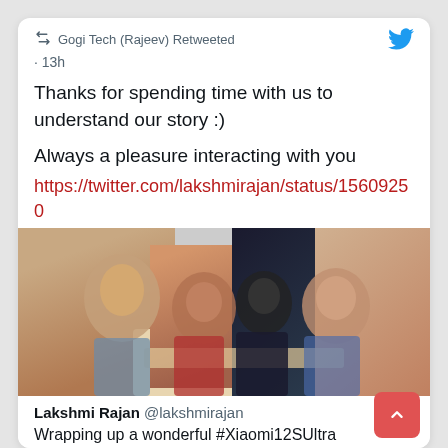Gogi Tech (Rajeev) Retweeted
· 13h
Thanks for spending time with us to understand our story :)
Always a pleasure interacting with you
https://twitter.com/lakshmirajan/status/15609250
[Figure (photo): Group photo of four people sitting together at a table, smiling at the camera.]
Lakshmi Rajan @lakshmirajan
Wrapping up a wonderful #Xiaomi12SUltra #XiaomiBehindTheLens photo workshop with brilliant Phone, amazing people, lovely